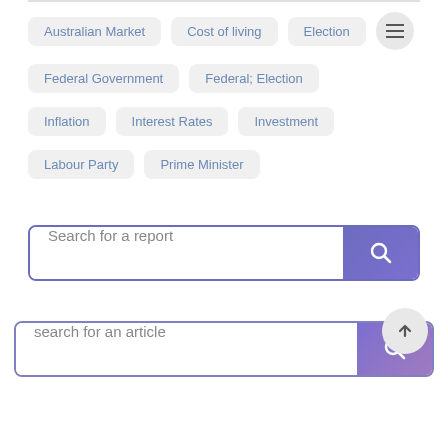Australian Market
Cost of living
Election
Federal Government
Federal; Election
Inflation
Interest Rates
Investment
Labour Party
Prime Minister
Search for a report
search for an article